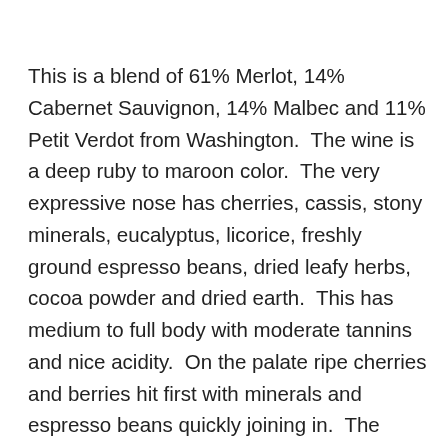This is a blend of 61% Merlot, 14% Cabernet Sauvignon, 14% Malbec and 11% Petit Verdot from Washington.  The wine is a deep ruby to maroon color.  The very expressive nose has cherries, cassis, stony minerals, eucalyptus, licorice, freshly ground espresso beans, dried leafy herbs, cocoa powder and dried earth.  This has medium to full body with moderate tannins and nice acidity.  On the palate ripe cherries and berries hit first with minerals and espresso beans quickly joining in.  The finish has nice length with dried herbs, cocoa powder, dried earth and a hint of eucalyptus entering the picture.  This may be a bit on the young side but it tastes delicious.  I wouldn't want to stash this in the back of the cellar, enjoy this one over the next couple of years.  This has 14.1% alcohol and the